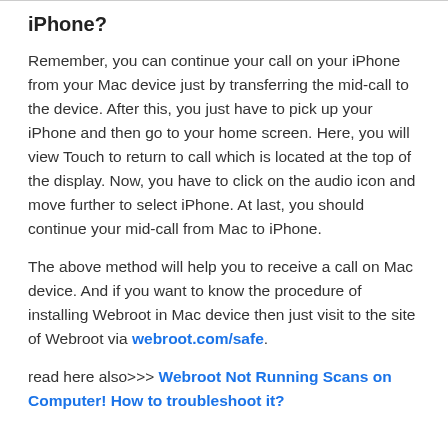iPhone?
Remember, you can continue your call on your iPhone from your Mac device just by transferring the mid-call to the device. After this, you just have to pick up your iPhone and then go to your home screen. Here, you will view Touch to return to call which is located at the top of the display. Now, you have to click on the audio icon and move further to select iPhone. At last, you should continue your mid-call from Mac to iPhone.
The above method will help you to receive a call on Mac device. And if you want to know the procedure of installing Webroot in Mac device then just visit to the site of Webroot via webroot.com/safe.
read here also>>> Webroot Not Running Scans on Computer! How to troubleshoot it?